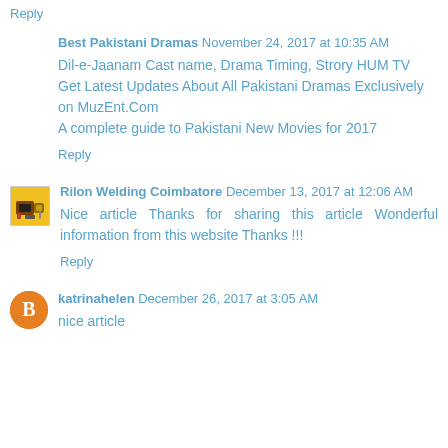Reply
Best Pakistani Dramas November 24, 2017 at 10:35 AM
Dil-e-Jaanam Cast name, Drama Timing, Strory HUM TV Get Latest Updates About All Pakistani Dramas Exclusively on MuzEnt.Com A complete guide to Pakistani New Movies for 2017
Reply
Rilon Welding Coimbatore December 13, 2017 at 12:06 AM
Nice article Thanks for sharing this article Wonderful information from this website Thanks !!!
Reply
katrinahelen December 26, 2017 at 3:05 AM
nice article